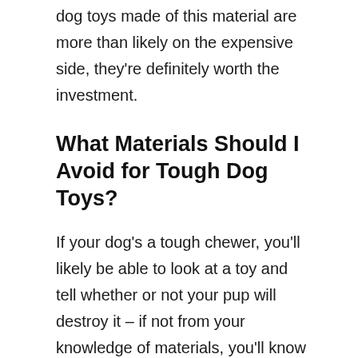dog toys made of this material are more than likely on the expensive side, they're definitely worth the investment.
What Materials Should I Avoid for Tough Dog Toys?
If your dog's a tough chewer, you'll likely be able to look at a toy and tell whether or not your pup will destroy it – if not from your knowledge of materials, you'll know from experience alone. So, unless you're extremely lucky and your doghas decided to be gentle with that particular toy for some unknown reason, your tough